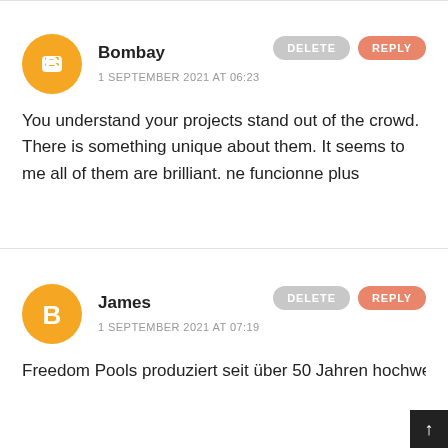[Figure (illustration): Blogger avatar icon - orange circle with white letter B symbol]
Bombay
1 SEPTEMBER 2021 AT 06:23
DELETE
REPLY
You understand your projects stand out of the crowd. There is something unique about them. It seems to me all of them are brilliant. ne funcionne plus
[Figure (illustration): Blogger avatar icon - orange circle with white letter B symbol]
James
1 SEPTEMBER 2021 AT 07:19
DELETE
REPLY
Freedom Pools produziert seit über 50 Jahren hochwertige GEK